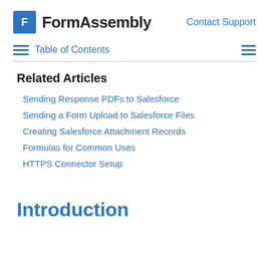FormAssembly | Contact Support
Table of Contents
Related Articles
Sending Response PDFs to Salesforce
Sending a Form Upload to Salesforce Files
Creating Salesforce Attachment Records
Formulas for Common Uses
HTTPS Connector Setup
Introduction